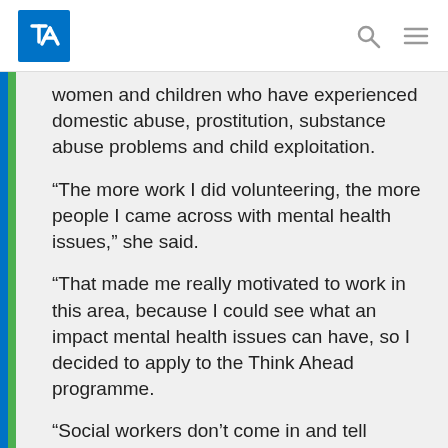Think Ahead – navigation bar with logo, search and menu icons
women and children who have experienced domestic abuse, prostitution, substance abuse problems and child exploitation.
“The more work I did volunteering, the more people I came across with mental health issues,” she said.
“That made me really motivated to work in this area, because I could see what an impact mental health issues can have, so I decided to apply to the Think Ahead programme.
“Social workers don’t come in and tell